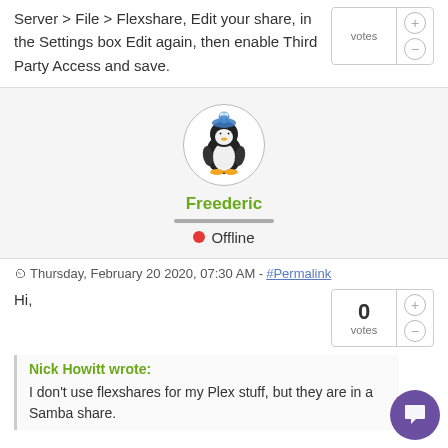Server > File > Flexshare, Edit your share, in the Settings box Edit again, then enable Third Party Access and save.
[Figure (illustration): User avatar: penguin wearing a hat, inside a circular border]
Freederic
● Offline
Thursday, February 20 2020, 07:30 AM - #Permalink
Hi,
Nick Howitt wrote:
I don't use flexshares for my Plex stuff, but they are in a Samba share.